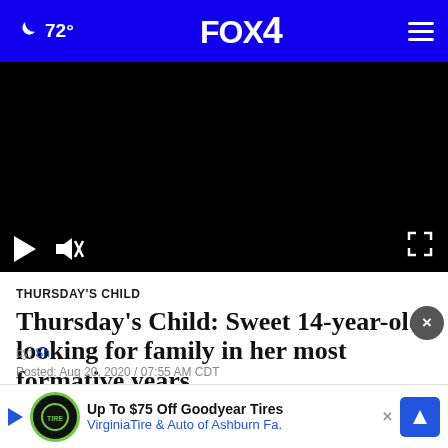🌙 72° FOX 4
[Figure (screenshot): Black video player area with play button and mute/fullscreen controls at bottom]
THURSDAY'S CHILD
Thursday's Child: Sweet 14-year-old looking for family in her most formative years
by: Sh...
Posted: Aug 20, 2020 / 07:55 AM CDT
[Figure (infographic): Advertisement banner: Up To $75 Off Goodyear Tires - VirginiaTire & Auto of Ashburn Fa.]